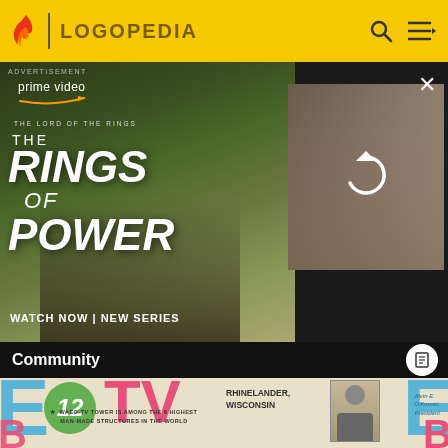LOGOPEDIA
[Figure (screenshot): Amazon Prime Video advertisement for 'The Lord of the Rings: The Rings of Power' with text 'WATCH NOW | NEW SERIES' and a partially loaded image on the right side with a refresh icon]
Community
[Figure (screenshot): WAEO-TV Channel 12 promotional graphic for Rhinelander, Wisconsin with bullet points about tower height, sea level, midwest TV coverage, color TV, and TV wave range. Features logo with large letters, green circle with '12', pink 'TV' text, and a portrait photo labeled 'Alvin E. O'Konski, President']